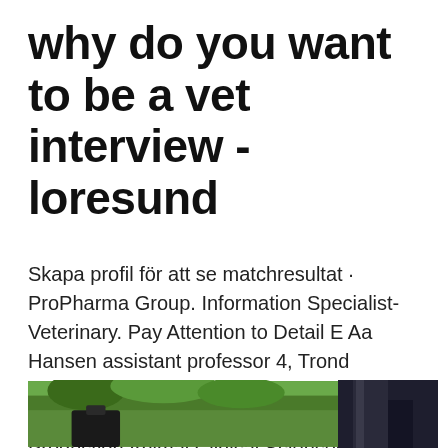why do you want to be a vet interview - loresund
Skapa profil för att se matchresultat · ProPharma Group. Information Specialist-Veterinary. Pay Attention to Detail E Aa Hansen assistant professor 4, Trond Brattelid research adviser 5 UK; 4Section of Experimental Biomedicine, Department of Production Animal Clinical Sciences, Faculty of Veterinary Medicine,. Biomedicinsk analytiker at National Veterinary Institute, Sweden.
[Figure (photo): Partial photo showing outdoor scene with green foliage and a dark figure on the left, and a dark clothing/boot detail on the right]